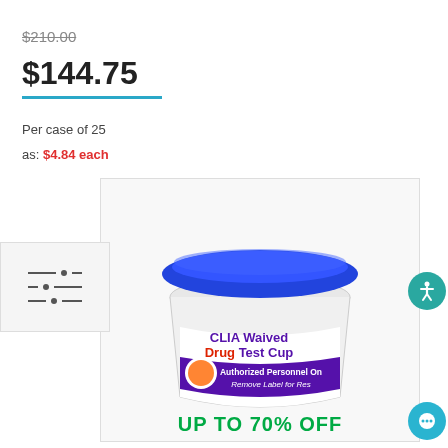$210.00
$144.75
Per case of 25
as: $4.84 each
[Figure (photo): CLIA Waived Drug Test Cup product photo with blue lid, showing label text 'CLIA Waived Drug Test Cup', 'Authorized Personnel Only', 'Remove Label for Results', and overlay text 'UP TO 70% OFF']